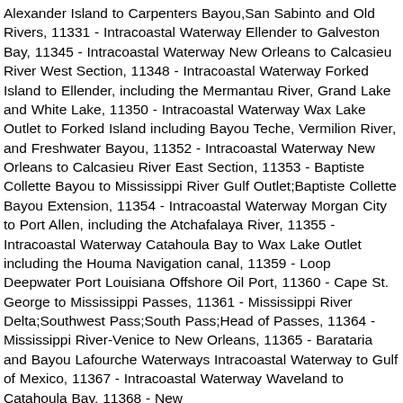Alexander Island to Carpenters Bayou,San Sabinto and Old Rivers, 11331 - Intracoastal Waterway Ellender to Galveston Bay, 11345 - Intracoastal Waterway New Orleans to Calcasieu River West Section, 11348 - Intracoastal Waterway Forked Island to Ellender, including the Mermantau River, Grand Lake and White Lake, 11350 - Intracoastal Waterway Wax Lake Outlet to Forked Island including Bayou Teche, Vermilion River, and Freshwater Bayou, 11352 - Intracoastal Waterway New Orleans to Calcasieu River East Section, 11353 - Baptiste Collette Bayou to Mississippi River Gulf Outlet;Baptiste Collette Bayou Extension, 11354 - Intracoastal Waterway Morgan City to Port Allen, including the Atchafalaya River, 11355 - Intracoastal Waterway Catahoula Bay to Wax Lake Outlet including the Houma Navigation canal, 11359 - Loop Deepwater Port Louisiana Offshore Oil Port, 11360 - Cape St. George to Mississippi Passes, 11361 - Mississippi River Delta;Southwest Pass;South Pass;Head of Passes, 11364 - Mississippi River-Venice to New Orleans, 11365 - Barataria and Bayou Lafourche Waterways Intracoastal Waterway to Gulf of Mexico, 11367 - Intracoastal Waterway Waveland to Catahoula Bay, 11368 - New